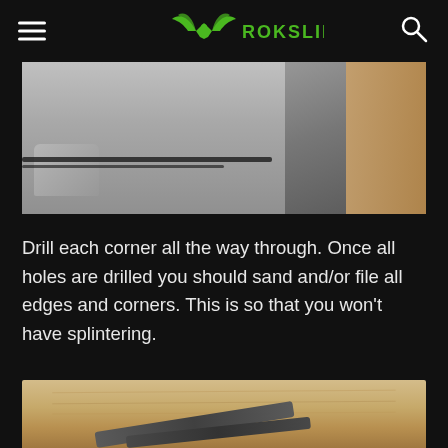ROKSLIDE
[Figure (photo): Photo of a shoe near a wooden board on a floor, showing a dark crack or gap]
Drill each corner all the way through. Once all holes are drilled you should sand and/or file all edges and corners. This is so that you won't have splintering.
[Figure (photo): Photo of wood planks with metal file tools resting on the surface]